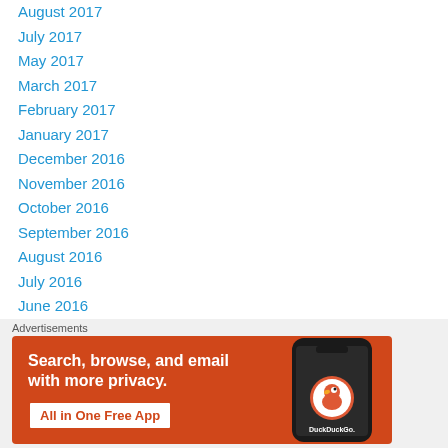August 2017
July 2017
May 2017
March 2017
February 2017
January 2017
December 2016
November 2016
October 2016
September 2016
August 2016
July 2016
June 2016
May 2016
April 2016
Advertisements
[Figure (illustration): DuckDuckGo advertisement banner. Orange background with text 'Search, browse, and email with more privacy. All in One Free App' and a phone image showing the DuckDuckGo app.]